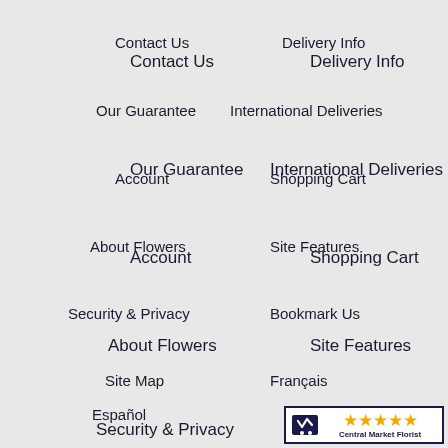Contact Us
Delivery Info
Our Guarantee
International Deliveries
Account
Shopping Cart
About Flowers
Site Features
Security & Privacy
Bookmark Us
Site Map
Français
Español
[Figure (logo): Central Market Florist 5-star rating badge with shopping cart icon and five orange stars]